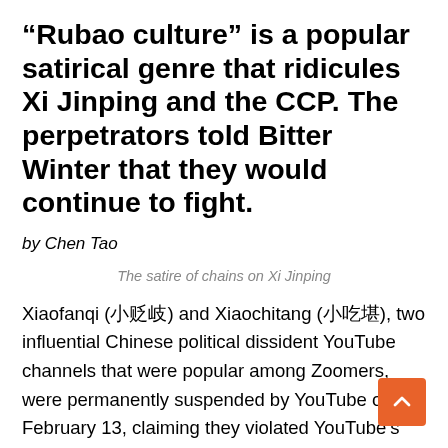“Rubao culture” is a popular satirical genre that ridicules Xi Jinping and the CCP. The perpetrators told Bitter Winter that they would continue to fight.
by Chen Tao
The satire of chains on Xi Jinping
Xiaofanqi (小贬岐) and Xiaochitang (小吃堪), two influential Chinese political dissident YouTube channels that were popular among Zoomers, were permanently suspended by YouTube on February 13, claiming they violated YouTube’s Terms of Service. Following the incident, the owners of the chains had appealed for an